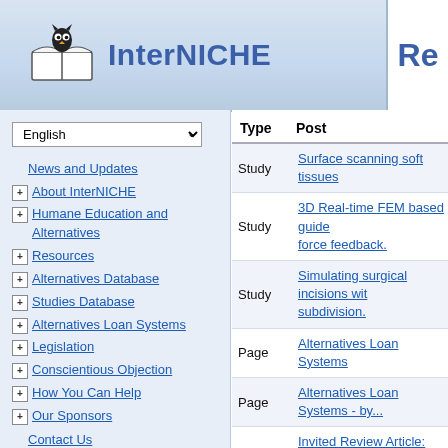InterNICHE
News and Updates
About InterNICHE
Humane Education and Alternatives
Resources
Alternatives Database
Studies Database
Alternatives Loan Systems
Legislation
Conscientious Objection
How You Can Help
Our Sponsors
Contact Us
Home
| Type | Post |
| --- | --- |
| Study | Surface scanning soft tissues |
| Study | 3D Real-time FEM based guide force feedback. |
| Study | Simulating surgical incisions with subdivision. |
| Page | Alternatives Loan Systems |
| Page | Alternatives Loan Systems - by... |
| Study | Invited Review Article: Where are... Used in Teaching and Education... |
| Study | Laparoskopické simulátory a jej... pro chirurga [Existing laparosco... their benefit for the surgeon] |
| Study | Ureteroscopy and cystoscopy tr... between transparent and non-tr... |
| Study | The relevance of low-fidelity virt... compared with other learning m... endovascular skills training |